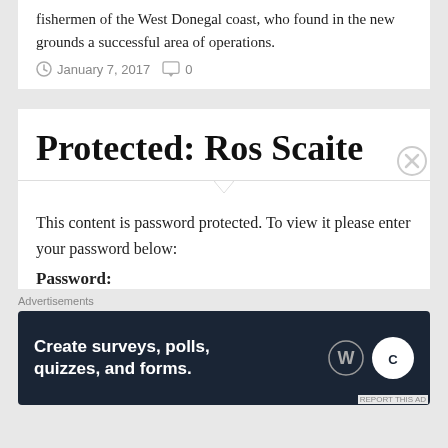fishermen of the West Donegal coast, who found in the new grounds a successful area of operations.
January 7, 2017   0
Protected: Ros Scaite
This content is password protected. To view it please enter your password below:
Password:
Advertisements
[Figure (other): Advertisement banner: dark navy background with white bold text 'Create surveys, polls, quizzes, and forms.' with WordPress and crown logos on the right side.]